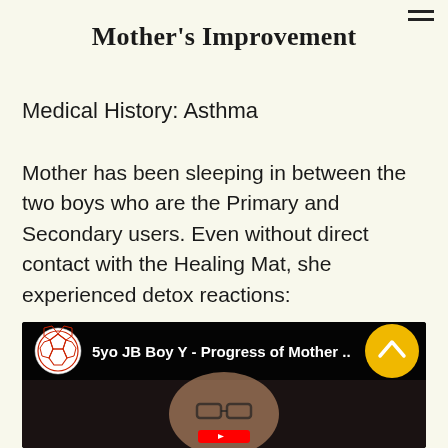Mother's Improvement
Medical History: Asthma
Mother has been sleeping in between the two boys who are the Primary and Secondary users. Even without direct contact with the Healing Mat, she experienced detox reactions:
[Figure (screenshot): YouTube video thumbnail showing a woman with glasses, with video title '5yo JB Boy Y - Progress of Mother ...' and a soccer ball channel icon, with a yellow scroll-up button overlay]